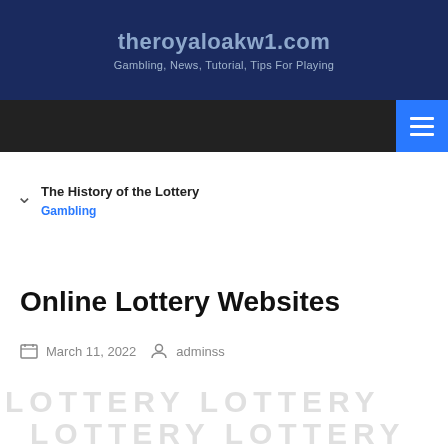theroyaloakw1.com
Gambling, News, Tutorial, Tips For Playing
[Figure (screenshot): Navigation menu button (hamburger icon) on dark nav bar with blue background button]
The History of the Lottery
Gambling
Online Lottery Websites
March 11, 2022   adminss